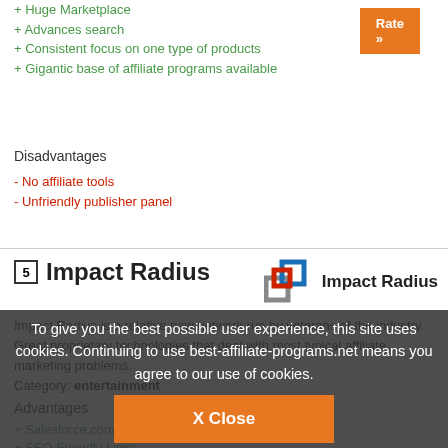+ Huge Marketplace
+ Advances search
+ Consistent focus on one type of products
+ Gigantic base of affiliate programs available
Disadvantages
- No affiliate tools
- Unfriendly publisher panel
5 Impact Radius
[Figure (logo): Impact Radius logo with interlocking squares in blue, red, and gray, with text 'Impact Radius']
Impact Radius is a relative new network run by veterans of the industry. Great proprietary technologies that deal with most typical affiliate marketing problems.
Category: entertainment
Advantages
+ Salesforce.com and CRM Integration
+ SEO Friendly Links
To give you the best possible user experience, this site uses cookies. Continuing to use best-affiliate-programs.net means you agree to our use of cookies.
X Close